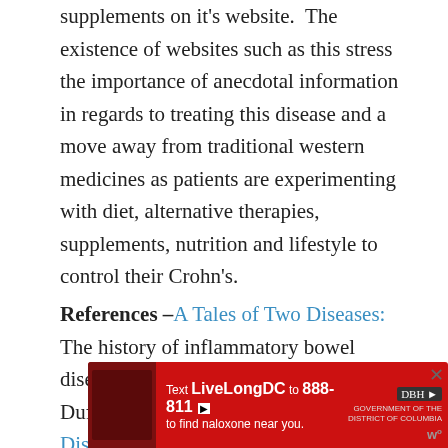supplements on it's website.  The existence of websites such as this stress the importance of anecdotal information in regards to treating this disease and a move away from traditional western medicines as patients are experimenting with diet, alternative therapies, supplements, nutrition and lifestyle to control their Crohn's.
References – A Tales of Two Diseases: The history of inflammatory bowel disease.  Mulder, NOble, Justinich, and Duffin, July 2013   A History of Crohn's Disease – Harry D. Fein 1982   Crohn's and Colitis UK   Dealing and Healing by aglajz
[Figure (other): Advertisement banner: red background with text 'Text LiveLongDC to 888-811 to find naloxone near you.' with logos and a close button]